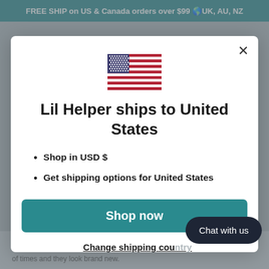FREE SHIP on US & Canada orders over $99 🌎UK, AU, NZ
[Figure (illustration): US flag emoji/illustration]
Lil Helper ships to United States
Shop in USD $
Get shipping options for United States
Shop now
Change shipping cou...
Chat with us
thrown in the washer and dryer hundreds of times and they look brand new.